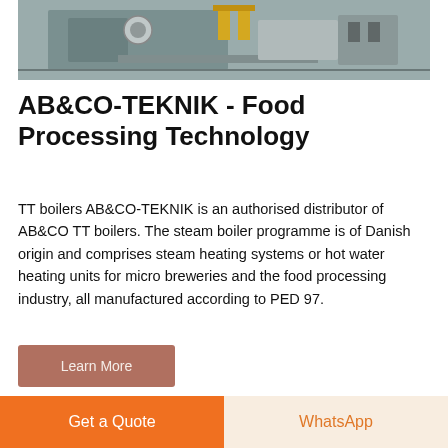[Figure (photo): Industrial machinery / boiler equipment with yellow pipes and valves, viewed from above]
AB&CO-TEKNIK - Food Processing Technology
TT boilers AB&CO-TEKNIK is an authorised distributor of AB&CO TT boilers. The steam boiler programme is of Danish origin and comprises steam heating systems or hot water heating units for micro breweries and the food processing industry, all manufactured according to PED 97.
Learn More
[Figure (photo): Industrial facility interior with blue metallic equipment and pipes]
Get a Quote
WhatsApp